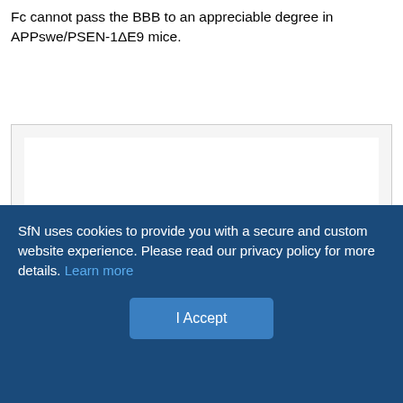Fc cannot pass the BBB to an appreciable degree in APPswe/PSEN-1ΔE9 mice.
[Figure (other): White rectangular figure area with gray border and light gray background, content not visible (obscured by cookie banner).]
SfN uses cookies to provide you with a secure and custom website experience. Please read our privacy policy for more details. Learn more
I Accept